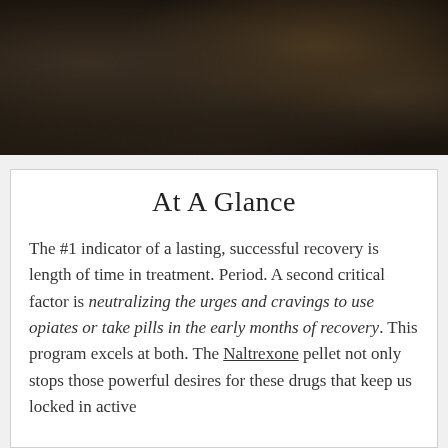[Figure (photo): Dark rocky landscape photograph used as a header image, showing dark stones or rocks with dim warm lighting]
At A Glance
The #1 indicator of a lasting, successful recovery is length of time in treatment. Period. A second critical factor is neutralizing the urges and cravings to use opiates or take pills in the early months of recovery. This program excels at both. The Naltrexone pellet not only stops those powerful desires for these drugs that keep us locked in active